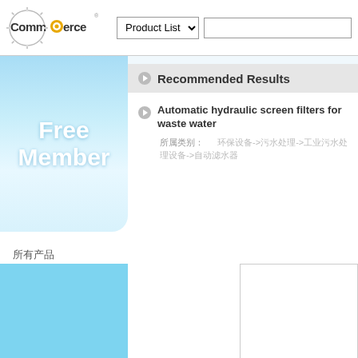[Figure (logo): Commerce logo with gear/cog wheel icon]
Product List
[Figure (screenshot): Free Member sidebar blue gradient box]
Free Member
所有产品
泵及泵站
阀门管件
水处理设备
消防设备
管道连接
Recommended Results
Automatic hydraulic screen filters for waste water
所属类别：　　　环保设备->污水处理->工业污水处理设备->自动滤水器